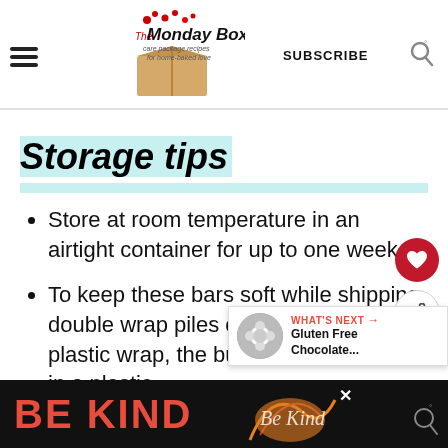The Monday Box — care package recipes for home-baked love | SUBSCRIBE
Storage tips
Store at room temperature in an airtight container for up to one week.
To keep these bars soft while shipping, double wrap piles of 2-4 squares in plastic wrap, the bundles in a column, in a plastic
[Figure (other): WHAT'S NEXT overlay with circular thumbnail image of Gluten Free Chocolate... recipe]
[Figure (other): BE KIND advertisement banner at bottom of page]